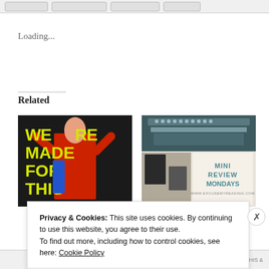[buttons row]
Loading...
Related
[Figure (illustration): Book cover: 'WE WERE MADE FOR THIS' with yellow text on dark background, person in red dress]
[Figure (illustration): Mini Review Mondays blog banner with typewriter and text 'MINI REVIEW MONDAYS www.excusemyreading.com']
#MiniReviewMonday : Mini
Privacy & Cookies: This site uses cookies. By continuing to use this website, you agree to their use.
To find out more, including how to control cookies, see here: Cookie Policy
Close and accept